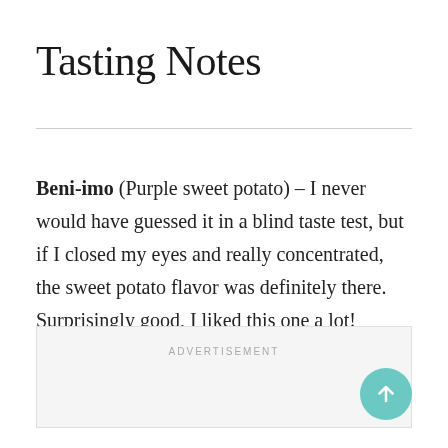Tasting Notes
Beni-imo (Purple sweet potato) – I never would have guessed it in a blind taste test, but if I closed my eyes and really concentrated, the sweet potato flavor was definitely there. Surprisingly good, I liked this one a lot!
ADVERTISEMENT